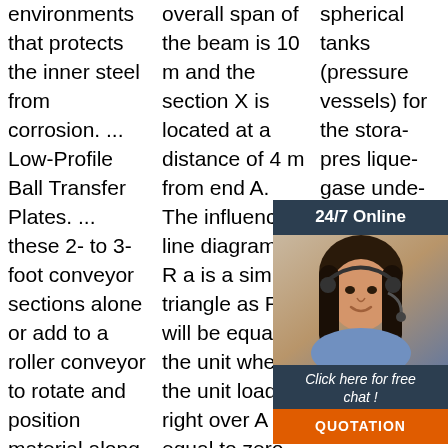environments that protects the inner steel from corrosion. ... Low-Profile Ball Transfer Plates. ... these 2- to 3-foot conveyor sections alone or add to a roller conveyor to rotate and position material along a conveying line.
overall span of the beam is 10 m and the section X is located at a distance of 4 m from end A. The influence line diagram for R a is a simple triangle as R a will be equal to the unit when the unit load is right over A and equal to zero when the
spherical tanks (pressure vessels) for the storage of pressurized liquefied gases and under pressure tanks for storage of water. The trend in recent years is for ... became possible to ascertain the
[Figure (infographic): 24/7 Online chat widget with a photo of a woman wearing a headset, a 'Click here for free chat!' message, and an orange QUOTATION button.]